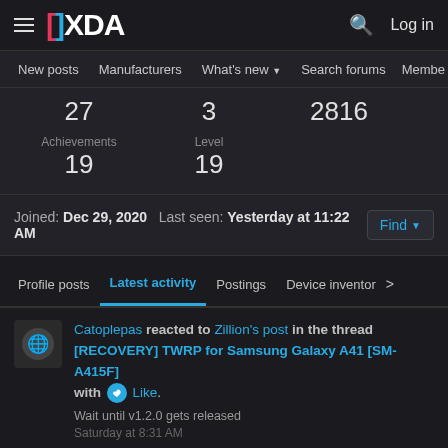XDA - hamburger menu, logo, search, Log in
New posts  Manufacturers  What's new  Search forums  Membe  >
27  3  2816  Achievements  Level  19  19
Joined: Dec 29, 2020  Last seen: Yesterday at 11:22 AM  Find
Profile posts  Latest activity  Postings  Device inventory  >
Catoplepas reacted to Zillion's post in the thread [RECOVERY] TWRP for Samsung Galaxy A41 [SM-A415F] with Like.
Wait until v1.2.0 gets released
Saturday at 8:31 AM